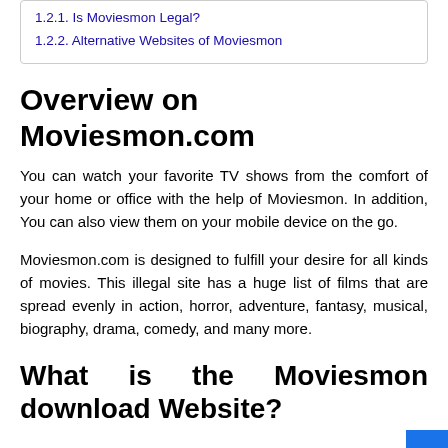1.2.1. Is Moviesmon Legal?
1.2.2. Alternative Websites of Moviesmon
Overview on Moviesmon.com
You can watch your favorite TV shows from the comfort of your home or office with the help of Moviesmon. In addition, You can also view them on your mobile device on the go.
Moviesmon.com is designed to fulfill your desire for all kinds of movies. This illegal site has a huge list of films that are spread evenly in action, horror, adventure, fantasy, musical, biography, drama, comedy, and many more.
What is the Moviesmon download Website?